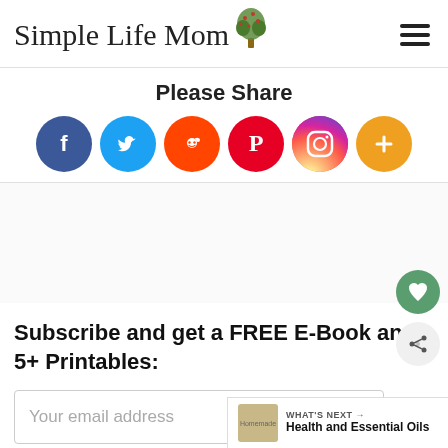Simple Life Mom
Please Share
[Figure (infographic): Row of 6 social media share icons (Facebook, Twitter, Reddit, Pinterest, Instagram, More/Plus) as colored circles]
Subscribe and get a FREE E-Book and 5+ Printables:
Your email address
[Figure (other): Floating heart favorite button and share button on the right side]
WHAT'S NEXT → Health and Essential Oils